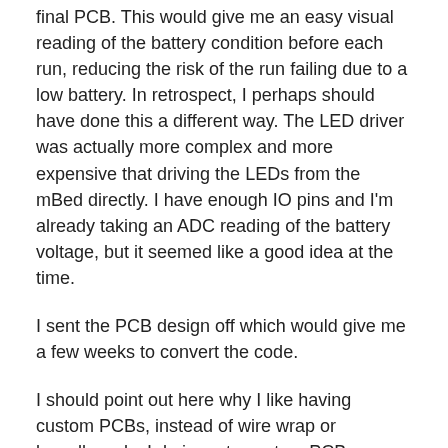final PCB. This would give me an easy visual reading of the battery condition before each run, reducing the risk of the run failing due to a low battery. In retrospect, I perhaps should have done this a different way. The LED driver was actually more complex and more expensive that driving the LEDs from the mBed directly. I have enough IO pins and I'm already taking an ADC reading of the battery voltage, but it seemed like a good idea at the time.
I sent the PCB design off which would give me a few weeks to convert the code.
I should point out here why I like having custom PCBs, instead of wire wrap or breadboards. I do jump to custom PCB very quickly in my prototyping phase. The simple answer is reliability. In the past I have run projects from a breadboard. But as always happens you drop the project, or it has to travel somewhere in a box, and suddenly two